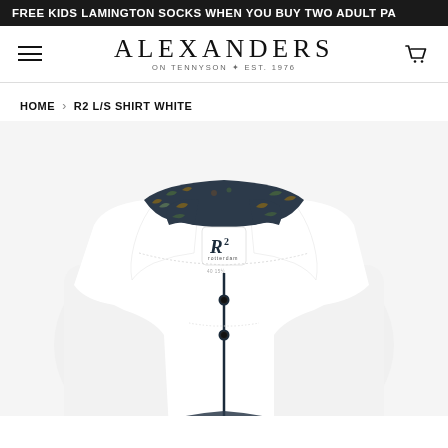FREE KIDS LAMINGTON SOCKS WHEN YOU BUY TWO ADULT PA
ALEXANDERS ON TENNYSON ✦ EST. 1976
HOME › R2 L/S SHIRT WHITE
[Figure (photo): Close-up product photo of a white long-sleeve dress shirt (R2 brand) folded to show the collar area. The shirt features a dark navy/floral patterned inner collar lining, small dark navy buttons, white fabric with subtle dotted stitching detail along the collar band, and an R2 Rotterdam brand label visible inside the collar.]